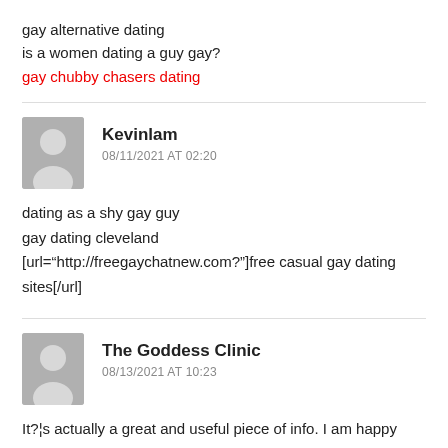gay alternative dating
is a women dating a guy gay?
gay chubby chasers dating
Kevinlam
08/11/2021 AT 02:20
dating as a shy gay guy
gay dating cleveland
[url="http://freegaychatnew.com?"]free casual gay dating sites[/url]
The Goddess Clinic
08/13/2021 AT 10:23
It?¦s actually a great and useful piece of info. I am happy that